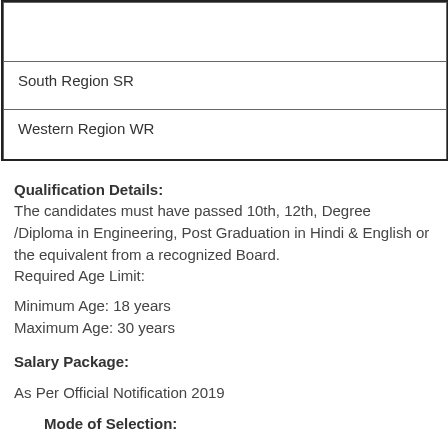| South Region SR |
| Western Region WR |
Qualification Details:
The candidates must have passed 10th, 12th, Degree /Diploma in Engineering, Post Graduation in Hindi & English or the equivalent from a recognized Board.
Required Age Limit:
Minimum Age: 18 years
Maximum Age: 30 years
Salary Package:
As Per Official Notification 2019
Mode of Selection: